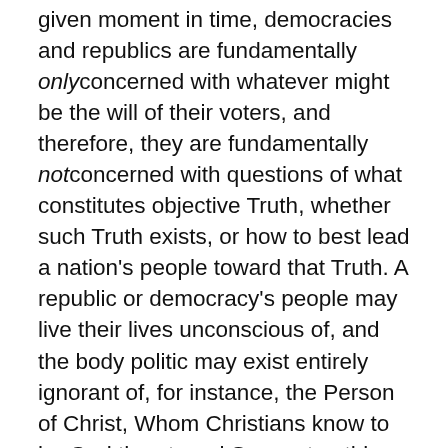given moment in time, democracies and republics are fundamentally only concerned with whatever might be the will of their voters, and therefore, they are fundamentally not concerned with questions of what constitutes objective Truth, whether such Truth exists, or how to best lead a nation's people toward that Truth. A republic or democracy's people may live their lives unconscious of, and the body politic may exist entirely ignorant of, for instance, the Person of Christ, Whom Christians know to be God the eternal Son, yet nothing in the elected “contracts” of a prime minister or president oblige them in the discharge of their office to introduce their people to Christ (or if the country is mostly Muslim, to the teachings of Muhammad found in the Qur’an, etc.). This is because any republic or democracy is fundamentally secular in nature (any republics ostensibly rooted in religion such as the world’s many “Islamic republics” are an existential and